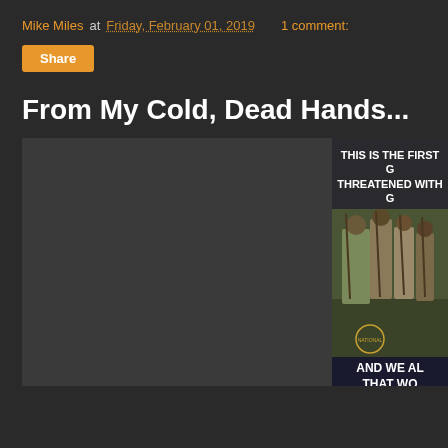Mike Miles at Friday, February 01, 2019   1 comment:
Share
From My Cold, Dead Hands...
[Figure (photo): Left: dark gray placeholder image. Right: partially visible meme image showing colonial/revolutionary war soldiers with muskets, text reading 'THIS IS THE FIRST G... THREATENED WITH G...' at top and 'AND WE AL... THAT WO...' at bottom.]